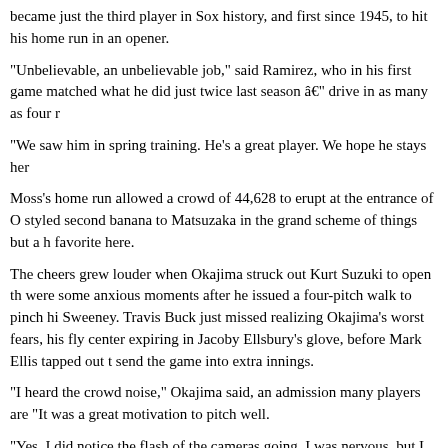became just the third player in Sox history, and first since 1945, to hit his home run in an opener.
"Unbelievable, an unbelievable job," said Ramirez, who in his first game matched what he did just twice last season â€" drive in as many as four r
"We saw him in spring training. He's a great player. We hope he stays her
Moss's home run allowed a crowd of 44,628 to erupt at the entrance of O styled second banana to Matsuzaka in the grand scheme of things but a h favorite here.
The cheers grew louder when Okajima struck out Kurt Suzuki to open th were some anxious moments after he issued a four-pitch walk to pinch hi Sweeney. Travis Buck just missed realizing Okajima's worst fears, his fly center expiring in Jacoby Ellsbury's glove, before Mark Ellis tapped out t send the game into extra innings.
"I heard the crowd noise," Okajima said, an admission many players are "It was a great motivation to pitch well.
"Yes, I did notice the flash of the cameras going. I was nervous, but I felt answer the crowd by pitching well. I appreciate the fans' support. It drive better."